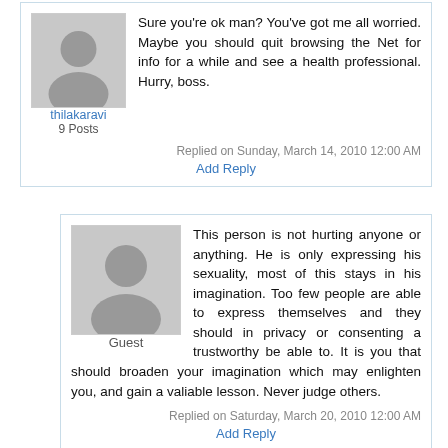[Figure (illustration): Avatar silhouette for user thilakaravi, 9 Posts]
Sure you're ok man? You've got me all worried. Maybe you should quit browsing the Net for info for a while and see a health professional. Hurry, boss.
Replied on Sunday, March 14, 2010 12:00 AM
Add Reply
[Figure (illustration): Avatar silhouette for Guest user]
This person is not hurting anyone or anything. He is only expressing his sexuality, most of this stays in his imagination. Too few people are able to express themselves and they should in privacy or consenting a trustworthy be able to. It is you that should broaden your imagination which may enlighten you, and gain a valiable lesson. Never judge others.
Replied on Saturday, March 20, 2010 12:00 AM
Add Reply